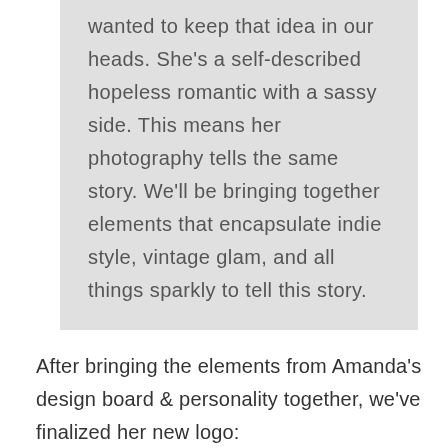wanted to keep that idea in our heads. She's a self-described hopeless romantic with a sassy side. This means her photography tells the same story. We'll be bringing together elements that encapsulate indie style, vintage glam, and all things sparkly to tell this story.
After bringing the elements from Amanda's design board & personality together, we've finalized her new logo: